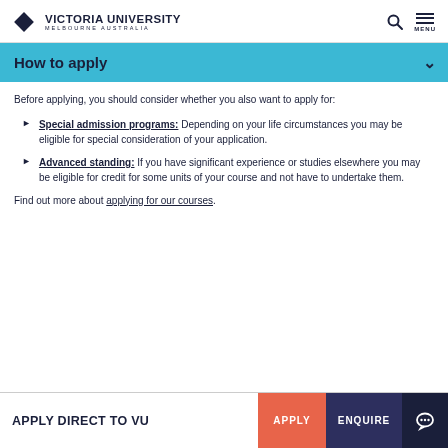Victoria University Melbourne Australia
How to apply
Before applying, you should consider whether you also want to apply for:
Special admission programs: Depending on your life circumstances you may be eligible for special consideration of your application.
Advanced standing: If you have significant experience or studies elsewhere you may be eligible for credit for some units of your course and not have to undertake them.
Find out more about applying for our courses.
APPLY DIRECT TO VU  APPLY  ENQUIRE